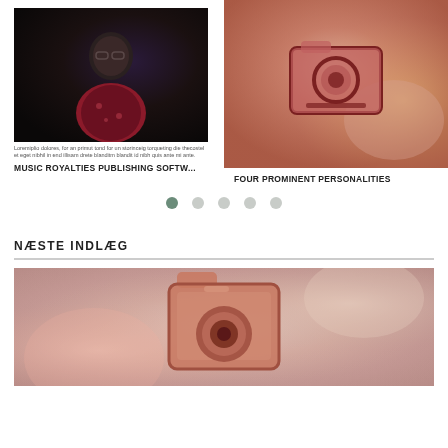[Figure (photo): Photo of a young man with glasses wearing a floral shirt, dark background]
Loremiplio dolores, for an primut tond for un storinceig torqueting die thecostel et eget nibhil in end illisam drete blanditm blandit id nibh quis ante mi ante.
MUSIC ROYALTIES PUBLISHING SOFTW...
[Figure (illustration): Blurred background image showing a camera/folder icon illustration on a warm reddish-orange blurred background with hands holding phone]
FOUR PROMINENT PERSONALITIES
[Figure (infographic): Navigation dots: 5 dots in a row, first dot is dark green/teal (active), remaining four are light grey]
NÆSTE INDLÆG
[Figure (illustration): Large illustration of a camera/folder icon on a soft warm blurred background with pink and beige tones]